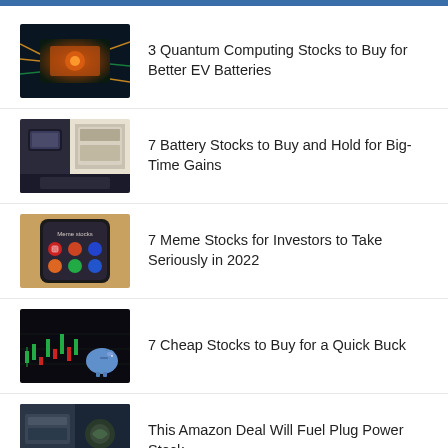[Figure (photo): Quantum computing chip with glowing orange and green circuit board]
3 Quantum Computing Stocks to Buy for Better EV Batteries
[Figure (photo): Electric vehicle battery pack under car hood]
7 Battery Stocks to Buy and Hold for Big-Time Gains
[Figure (photo): Smartphone screen showing meme stocks app icons]
7 Meme Stocks for Investors to Take Seriously in 2022
[Figure (photo): Stock trading candlestick chart with piggy bank]
7 Cheap Stocks to Buy for a Quick Buck
[Figure (photo): Amazon delivery vehicle engine compartment]
This Amazon Deal Will Fuel Plug Power Stock